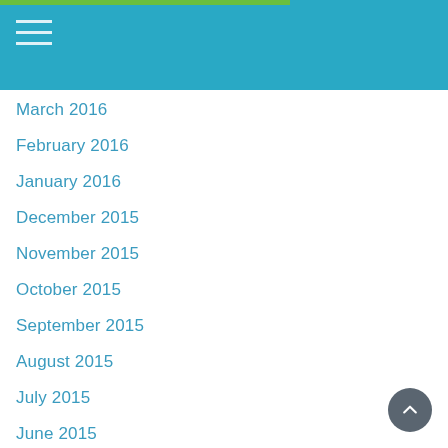Navigation header with hamburger menu
March 2016
February 2016
January 2016
December 2015
November 2015
October 2015
September 2015
August 2015
July 2015
June 2015